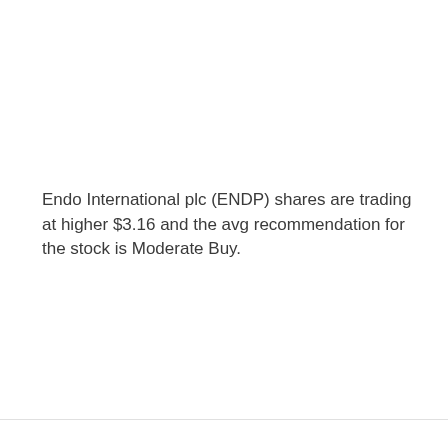Endo International plc (ENDP) shares are trading at higher $3.16 and the avg recommendation for the stock is Moderate Buy.